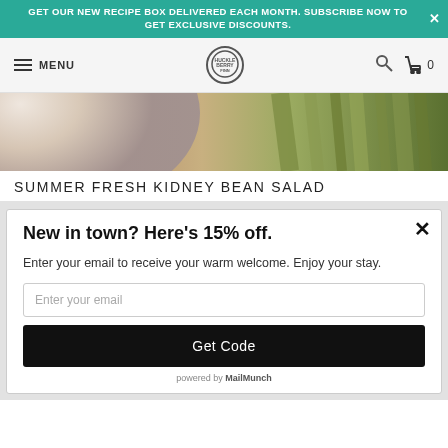GET OUR NEW RECIPE BOX DELIVERED EACH MONTH. SUBSCRIBE NOW TO GET EXCLUSIVE DISCOUNTS.
[Figure (screenshot): Website navigation bar with hamburger menu, MENU text, circular logo, search icon, and cart icon with count 0]
[Figure (photo): Close-up photo of a bowl on a wooden/striped background, partial view of a salad bowl]
SUMMER FRESH KIDNEY BEAN SALAD
New in town? Here's 15% off.
Enter your email to receive your warm welcome. Enjoy your stay.
Enter your email
Get Code
powered by MailMunch